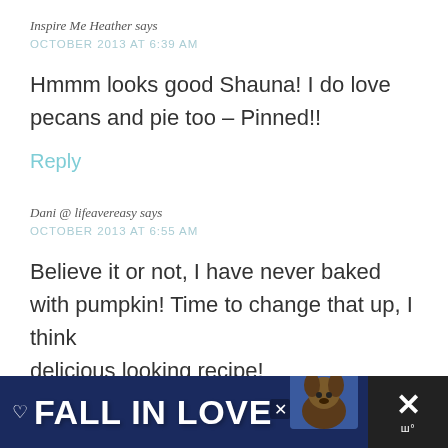Inspire Me Heather says
OCTOBER 2013 AT 6:39 AM
Hmmm looks good Shauna! I do love pecans and pie too – Pinned!!
Reply
Dani @ lifeavereasy says
OCTOBER 2013 AT 6:55 AM
Believe it or not, I have never baked with pumpkin! Time to change that up, I think delicious looking recipe!
[Figure (screenshot): Advertisement banner at bottom reading FALL IN LOVE with dog image]
[Figure (other): Share and favorite floating icons on right side]